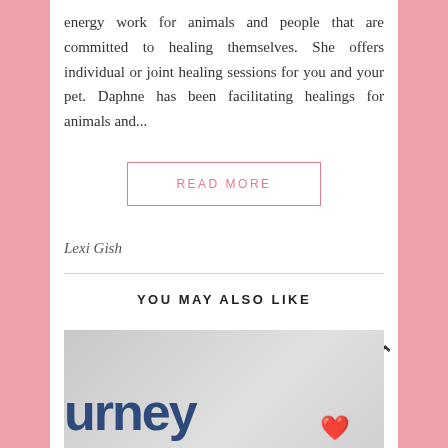energy work for animals and people that are committed to healing themselves. She offers individual or joint healing sessions for you and your pet. Daphne has been facilitating healings for animals and...
READ MORE
Lexi Gish
YOU MAY ALSO LIKE
[Figure (photo): Partially visible image showing large bold text 'urney' in dark blue on a light grey background, with a small red graphic element at the bottom right.]